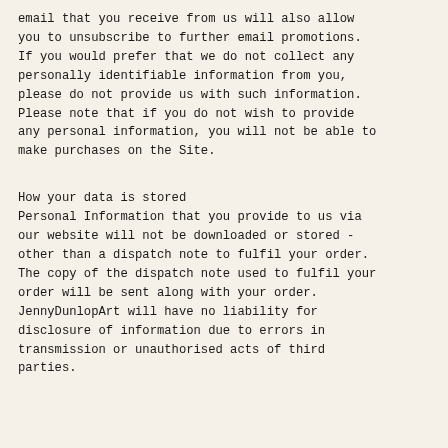email that you receive from us will also allow you to unsubscribe to further email promotions. If you would prefer that we do not collect any personally identifiable information from you, please do not provide us with such information. Please note that if you do not wish to provide any personal information, you will not be able to make purchases on the Site.
How your data is stored
Personal Information that you provide to us via our website will not be downloaded or stored - other than a dispatch note to fulfil your order. The copy of the dispatch note used to fulfil your order will be sent along with your order. JennyDunlopArt will have no liability for disclosure of information due to errors in transmission or unauthorised acts of third parties.